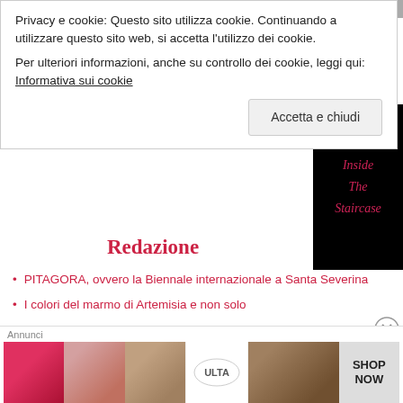Privacy e cookie: Questo sito utilizza cookie. Continuando a utilizzare questo sito web, si accetta l'utilizzo dei cookie.
Per ulteriori informazioni, anche su controllo dei cookie, leggi qui: Informativa sui cookie
Accetta e chiudi
[Figure (illustration): Black box with italic pink/red cursive text reading 'Inside The Staircase']
Redazione
PITAGORA, ovvero la Biennale internazionale a Santa Severina
I colori del marmo di Artemisia e non solo
I libri di Elettra Nicodemi
[Figure (screenshot): Advertisement banner with Annunci label showing makeup/beauty images and ULTA logo with SHOP NOW text]